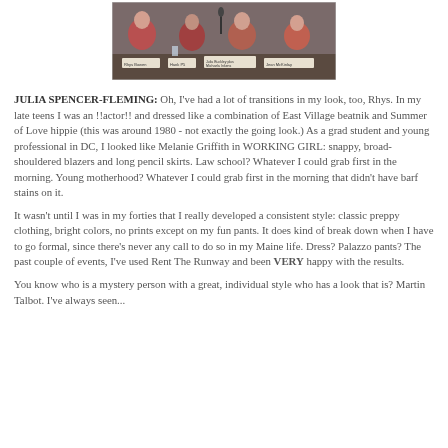[Figure (photo): Panel photo showing several authors seated at a table with name placards including Rhys Bowen, Hank P5, Julia Buckley plus Michaela Inkens, and Jean McKinlay]
JULIA SPENCER-FLEMING: Oh, I've had a lot of transitions in my look, too, Rhys. In my late teens I was an !!actor!! and dressed like a combination of East Village beatnik and Summer of Love hippie (this was around 1980 - not exactly the going look.) As a grad student and young professional in DC, I looked like Melanie Griffith in WORKING GIRL: snappy, broad-shouldered blazers and long pencil skirts. Law school? Whatever I could grab first in the morning. Young motherhood? Whatever I could grab first in the morning that didn't have barf stains on it.
It wasn't until I was in my forties that I really developed a consistent style: classic preppy clothing, bright colors, no prints except on my fun pants. It does kind of break down when I have to go formal, since there's never any call to do so in my Maine life. Dress? Palazzo pants? The past couple of events, I've used Rent The Runway and been VERY happy with the results.
You know who is a mystery person with a great, individual style who has a look that is? Martin Talbot. I've always seen...